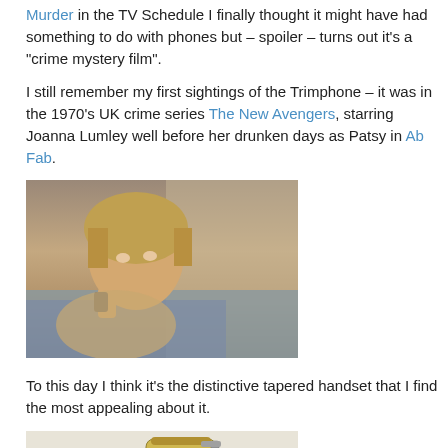Murder in the TV Schedule finally thought it might have had something to do with phones but – spoiler – turns out it's a "crime mystery film".
I still remember my first sightings of the Trimphone – it was in the 1970's UK crime series The New Avengers, starring Joanna Lumley well before her drunken days as Patsy in Ab Fab.
[Figure (photo): A woman with short blonde hair lying in bed holding a phone to her ear, appearing to be in a 1970s TV show scene.]
To this day I think it's the distinctive tapered handset that I find the most appealing about it.
[Figure (photo): A vintage Trimphone telephone (cream/yellow colored) with a rotary dial, showing the distinctive tapered handset design.]